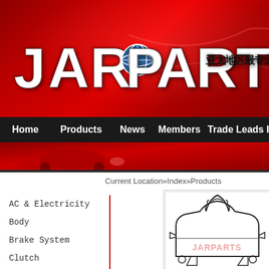[Figure (logo): JARPARTS logo on red gradient banner with globe icon in letter O and Chinese text]
Home  Products  News  Members  Trade Leads Int
[Figure (photo): Red car partial image in sub-banner]
Current Location»Index»Products
AC & Electricity
Body
Brake System
Clutch
CrankShaft &
[Figure (illustration): Technical line drawing of a brake pad with JARPARTS watermark text]